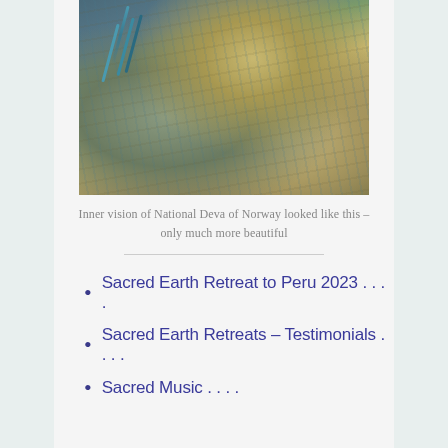[Figure (photo): Close-up macro photograph of what appears to be a bird or animal with turquoise/blue bristle-like feathers or spines and golden-tan textured skin/feathers]
Inner vision of National Deva of Norway looked like this – only much more beautiful
Sacred Earth Retreat to Peru 2023 . . . .
Sacred Earth Retreats – Testimonials . . . .
Sacred Music . . . .